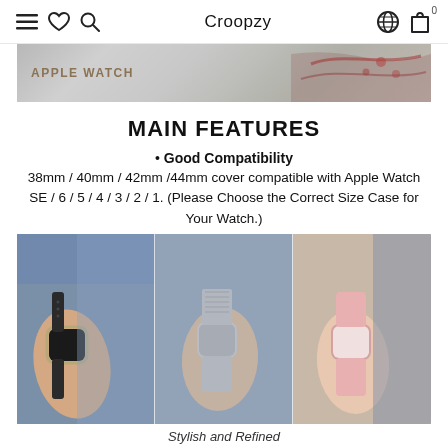Croopzy
[Figure (photo): Hero banner showing Apple Watch products on sparkly background with red jewelry accents, 'APPLE WATCH' text in gold/brown]
MAIN FEATURES
Good Compatibility
38mm / 40mm / 42mm /44mm cover compatible with Apple Watch SE / 6 / 5 / 4 / 3 / 2 / 1. (Please Choose the Correct Size Case for Your Watch.)
[Figure (photo): Three women wearing Apple Watch with different band styles - black band, silver mesh band, and pink band with protective cases]
Stylish and Refined
Suitable for all kind of band!
[Figure (photo): Bottom portion of another product photo showing pink and blue outfits with Apple Watch]